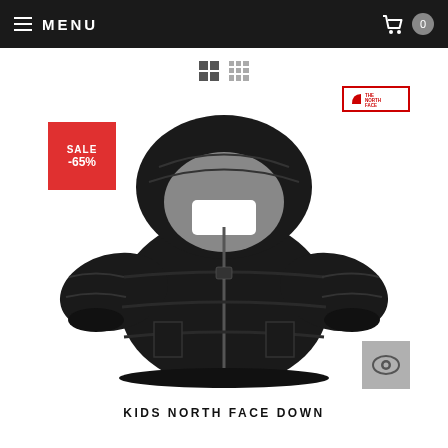MENU
[Figure (screenshot): E-commerce product page screenshot showing a black North Face kids down jacket with a red SALE -65% badge and The North Face brand logo. There is a small eye/quick-view button in the bottom right of the image area.]
KIDS NORTH FACE DOWN